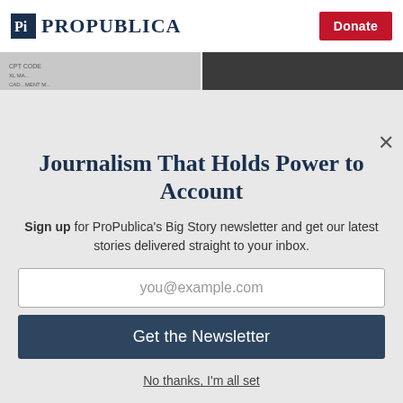ProPublica | Donate
[Figure (screenshot): Two article thumbnail images side by side: left shows a medical billing document, right shows a dark indoor scene]
Did a Health Insurer
What Happened When
Journalism That Holds Power to Account
Sign up for ProPublica's Big Story newsletter and get our latest stories delivered straight to your inbox.
you@example.com
Get the Newsletter
No thanks, I'm all set
This site is protected by reCAPTCHA and the Google Privacy Policy and Terms of Service apply.